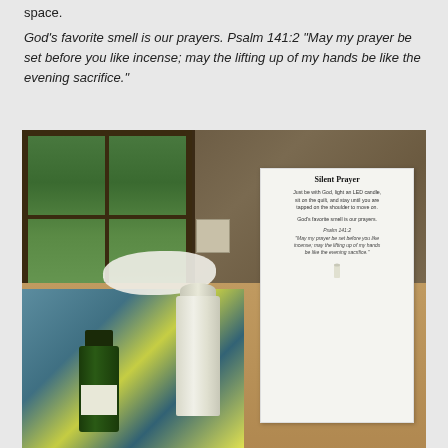space.
God's favorite smell is our prayers. Psalm 141:2 “May my prayer be set before you like incense; may the lifting up of my hands be like the evening sacrifice.”
[Figure (photo): Photo of a prayer station setup on a table with a colorful quilt, a white LED candle, a small bottle of essential oil, and a sign card reading 'Silent Prayer' with instructions and the Psalm 141:2 quote. Background shows a wood-paneled room with a window.]